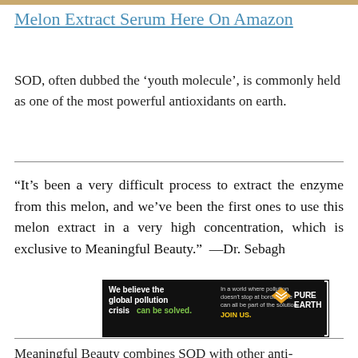Melon Extract Serum Here On Amazon
SOD, often dubbed the ‘youth molecule’, is commonly held as one of the most powerful antioxidants on earth.
“It’s been a very difficult process to extract the enzyme from this melon, and we’ve been the first ones to use this melon extract in a very high concentration, which is exclusive to Meaningful Beauty.”  —Dr. Sebagh
[Figure (infographic): Pure Earth advertisement banner. Text reads: 'We believe the global pollution crisis can be solved.' with green text for 'can be solved.' Middle text: 'In a world where pollution doesn’t stop at borders, we can all be part of the solution. JOIN US.' (JOIN US in yellow). Pure Earth logo on right with diamond/chevron icon.]
Meaningful Beauty combines SOD with other anti-